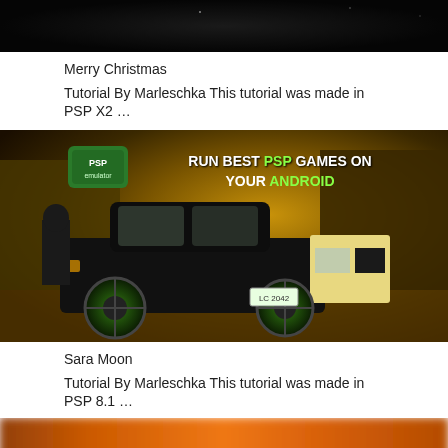[Figure (screenshot): Dark/black image at the top of the page, partially cropped]
Merry Christmas
Tutorial By Marleschka This tutorial was made in PSP X2 …
[Figure (screenshot): Gaming screenshot showing GTA-style game with text 'RUN BEST PSP GAMES ON YOUR ANDROID' and PSP logo, dark gold/yellow scene with car and character]
Sara Moon
Tutorial By Marleschka This tutorial was made in PSP 8.1 …
[Figure (photo): Blurred orange/brown image at bottom of page, partially cropped]